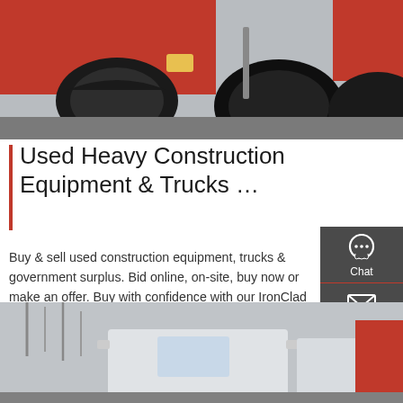[Figure (photo): Close-up photo of a red heavy truck showing large tires and undercarriage with exhaust pipe]
Used Heavy Construction Equipment & Trucks …
Buy & sell used construction equipment, trucks & government surplus. Bid online, on-site, buy now or make an offer. Buy with confidence with our IronClad Assurance®.
[Figure (infographic): Sidebar with dark grey background showing Chat, Email, Contact, and Top navigation buttons with icons]
[Figure (photo): Photo of white heavy trucks in a parking area with bare trees in background]